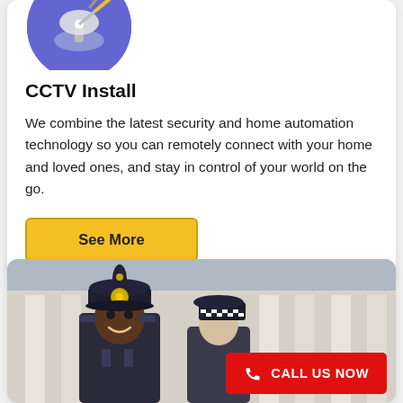[Figure (illustration): Circular blue icon with a satellite/CCTV camera illustration in white and grey tones, partially cropped at top]
CCTV Install
We combine the latest security and home automation technology so you can remotely connect with your home and loved ones, and stay in control of your world on the go.
[Figure (other): Yellow 'See More' button with dark border]
[Figure (photo): Photo of a smiling police officer wearing a traditional British police helmet (custodian helmet) with a badge, standing in front of a classical building with columns. A second officer partially visible to the right.]
[Figure (other): Red 'CALL US NOW' button with phone icon in white]